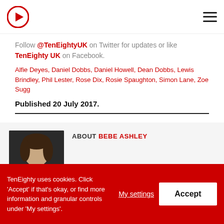TenEighty UK logo and navigation
Follow @TenEightyUK on Twitter for updates or like TenEighty UK on Facebook.
Alfie Deyes, Daniel Dobbs, Daniel Howell, Dean Dobbs, Lewis Brindley, Phil Lester, Rose Dix, Rosie Spaughton, Simon Lane, Zoe Sugg
Published 20 July 2017.
[Figure (photo): Author photo of Bebe Ashley]
ABOUT BEBE ASHLEY
Writing should be completed under a copious amount of blankets & with a fresh mug of hot chocolate.
TenEighty uses cookies. Click 'Accept' if that's okay, or find more information and granular controls under 'My settings'.